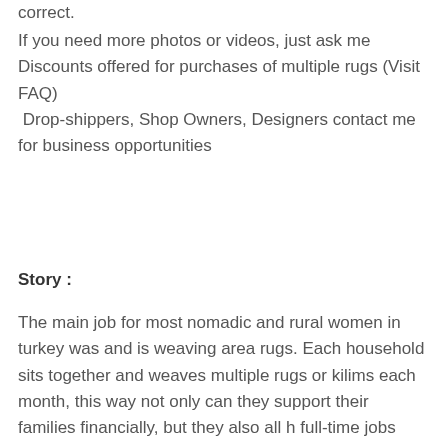correct.
If you need more photos or videos, just ask me
Discounts offered for purchases of multiple rugs (Visit FAQ)
 Drop-shippers, Shop Owners, Designers contact me for business opportunities
Story :
The main job for most nomadic and rural women in turkey was and is weaving area rugs. Each household sits together and weaves multiple rugs or kilims each month, this way not only can they support their families financially, but they also all h full-time jobs creating wonderful art that other people can enjoy